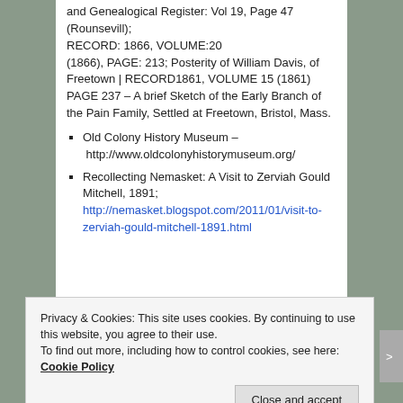and Genealogical Register: Vol 19, Page 47 (Rounsevill); RECORD: 1866, VOLUME:20 (1866), PAGE: 213; Posterity of William Davis, of Freetown | RECORD1861, VOLUME 15 (1861) PAGE 237 – A brief Sketch of the Early Branch of the Pain Family, Settled at Freetown, Bristol, Mass.
Old Colony History Museum – http://www.oldcolonyhistorymuseum.org/
Recollecting Nemasket: A Visit to Zerviah Gould Mitchell, 1891; http://nemasket.blogspot.com/2011/01/visit-to-zerviah-gould-mitchell-1891.html
Privacy & Cookies: This site uses cookies. By continuing to use this website, you agree to their use. To find out more, including how to control cookies, see here: Cookie Policy